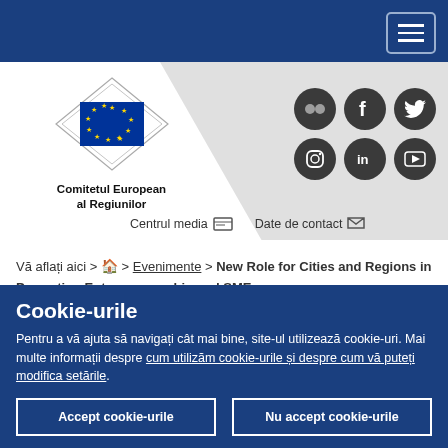Comitetul European al Regiunilor — navigation header with hamburger menu
[Figure (logo): EU Committee of the Regions logo: circular EU emblem with diamond border above EU flag, with text Comitetul European al Regiunilor]
[Figure (infographic): Social media icons: Flickr, Facebook, Twitter, Instagram, LinkedIn, YouTube]
Centrul media  Date de contact
Vă aflați aici > 🏠 > Evenimente > New Role for Cities and Regions in Promoting Entrepreneurship and SMEs
Cookie-urile
Pentru a vă ajuta să navigați cât mai bine, site-ul utilizează cookie-uri. Mai multe informații despre cum utilizăm cookie-urile și despre cum vă puteți modifica setările.
Accept cookie-urile
Nu accept cookie-urile